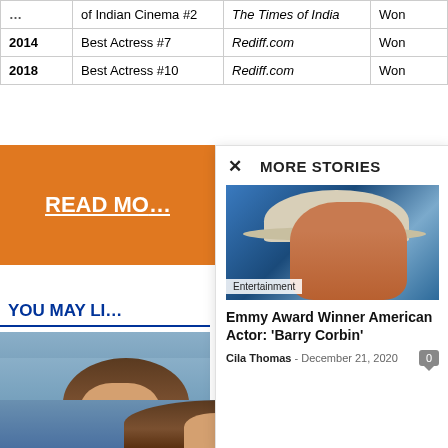| Year | Award | Organization | Result |
| --- | --- | --- | --- |
| … | of Indian Cinema #2 | The Times of India | Won |
| 2014 | Best Actress #7 | Rediff.com | Won |
| 2018 | Best Actress #10 | Rediff.com | Won |
READ MO…
YOU MAY LI…
MORE STORIES
[Figure (photo): Man wearing a white cowboy hat, close-up portrait with blue background, labeled Entertainment]
Emmy Award Winner American Actor: 'Barry Corbin'
Cila Thomas - December 21, 2020
[Figure (photo): Woman with long brown hair, partial portrait at bottom of page]